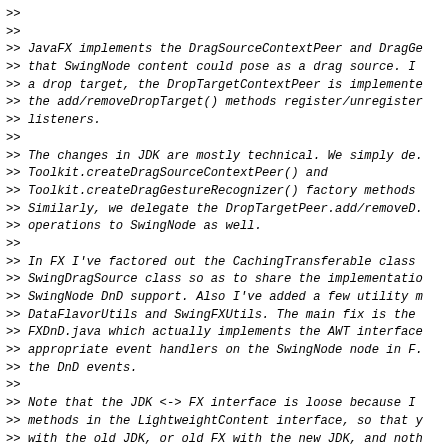>>
>>
>> JavaFX implements the DragSourceContextPeer and DragGe
>> that SwingNode content could pose as a drag source. I
>> a drop target, the DropTargetContextPeer is implemente
>> the add/removeDropTarget() methods register/unregister
>> listeners.
>>
>> The changes in JDK are mostly technical. We simply de.
>> Toolkit.createDragSourceContextPeer() and
>> Toolkit.createDragGestureRecognizer() factory methods
>> Similarly, we delegate the DropTargetPeer.add/removeD
>> operations to SwingNode as well.
>>
>> In FX I've factored out the CachingTransferable class
>> SwingDragSource class so as to share the implementatio
>> SwingNode DnD support. Also I've added a few utility m
>> DataFlavorUtils and SwingFXUtils. The main fix is the
>> FXDnD.java which actually implements the AWT interface
>> appropriate event handlers on the SwingNode node in F.
>> the DnD events.
>>
>> Note that the JDK <-> FX interface is loose because I
>> methods in the LightweightContent interface, so that y
>> with the old JDK, or old FX with the new JDK, and noth
>> Obviously, the DnD in SwingNode will only work if both
>> patched.
>>
>> I've tested these changes on Windows and Mac with the
>> this JIRA as well as a JFXPanel DnD test application.